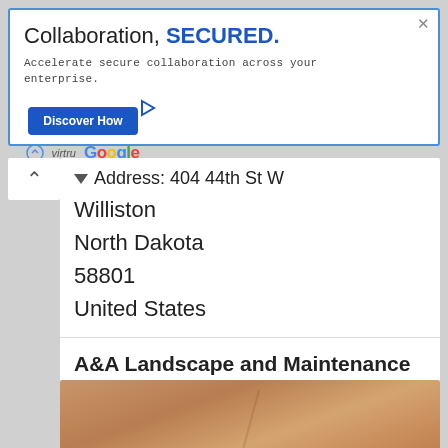[Figure (screenshot): Advertisement banner for Virtru and Google collaboration security product. Shows 'Collaboration, SECURED.' headline with 'Discover How' button, Virtru and Google logos.]
Address: 404 44th St W
Williston
North Dakota
58801
United States
A&A Landscape and Maintenance of North Dakota, LLC is a premier landscape contractor in North Dakota. We have grown our business by providing our valued
Read more...
[Figure (photo): Partial view of a brown/tan leather or wooden surface at the bottom of the page.]